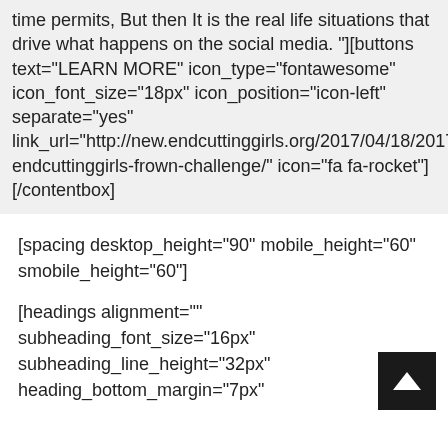time permits, But then It is the real life situations that drive what happens on the social media. "][buttons text="LEARN MORE" icon_type="fontawesome" icon_font_size="18px" icon_position="icon-left" separate="yes" link_url="http://new.endcuttinggirls.org/2017/04/18/2017-endcuttinggirls-frown-challenge/" icon="fa fa-rocket"] [/contentbox]
[spacing desktop_height="90" mobile_height="60" smobile_height="60"]
[headings alignment="" subheading_font_size="16px" subheading_line_height="32px" heading_bottom_margin="7px"